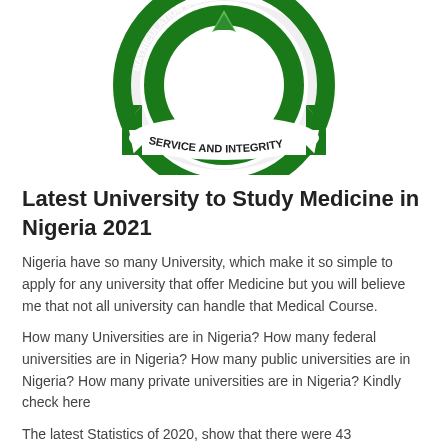[Figure (logo): JAMB Matriculation Board circular logo with green and white colors, text reading 'JAMB MATRICULATION BOARD' and 'SERVICE AND INTEGRITY']
Latest University to Study Medicine in Nigeria 2021
Nigeria have so many University, which make it so simple to apply for any university that offer Medicine but you will believe me that not all university can handle that Medical Course.
How many Universities are in Nigeria? How many federal universities are in Nigeria? How many public universities are in Nigeria? How many private universities are in Nigeria? Kindly check here
The latest Statistics of 2020, show that there were 43